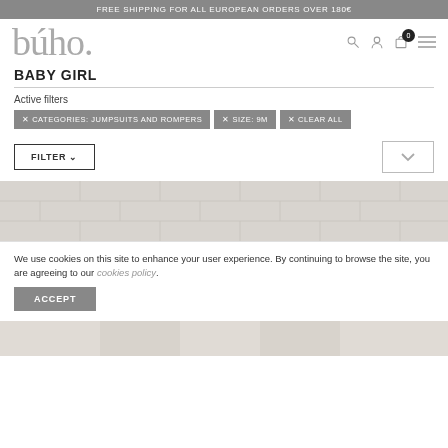FREE SHIPPING FOR ALL EUROPEAN ORDERS OVER 180€
[Figure (logo): búho. brand logo in serif gray font]
BABY GIRL
Active filters
✕ CATEGORIES: JUMPSUITS AND ROMPERS
✕ SIZE: 9M
✕ CLEAR ALL
FILTER ∨
[Figure (photo): Product listing image showing clothing on hangers against a white brick wall background]
We use cookies on this site to enhance your user experience. By continuing to browse the site, you are agreeing to our cookies policy.
ACCEPT
[Figure (photo): Bottom portion of product listing image]